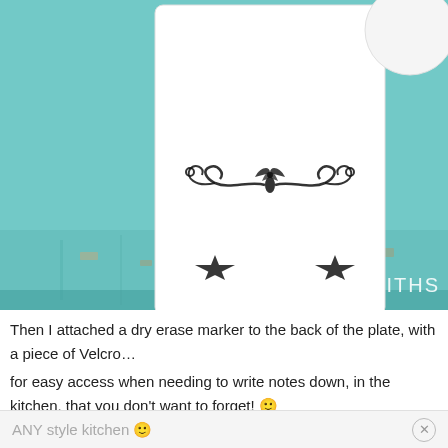[Figure (photo): Photo of a white rectangular ceramic plate with decorative black scrollwork/flourish design on its surface, propped up on two black star-shaped stands on a distressed teal/turquoise painted wooden surface. A white bowl is partially visible in the upper right corner. The 'House of Smiths' watermark appears in white text at the bottom right of the image.]
Then I attached a dry erase marker to the back of the plate, with a piece of Velcro...
for easy access when needing to write notes down, in the kitchen, that you don't want to forget! 🙂
I thought this idea would work well, because it can go in
ANY style kitchen 🙂